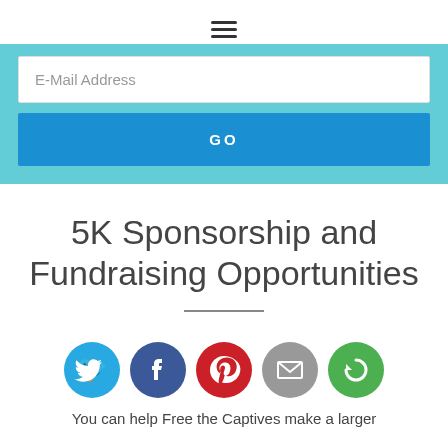☰
[Figure (screenshot): Email subscription form with teal background, an email input field and a blue GO button]
5K Sponsorship and Fundraising Opportunities
[Figure (infographic): Row of five social sharing icons: Twitter (blue bird), Facebook (dark blue f), Pinterest (red P), Email (grey envelope), More (green circular arrow)]
You can help Free the Captives make a larger